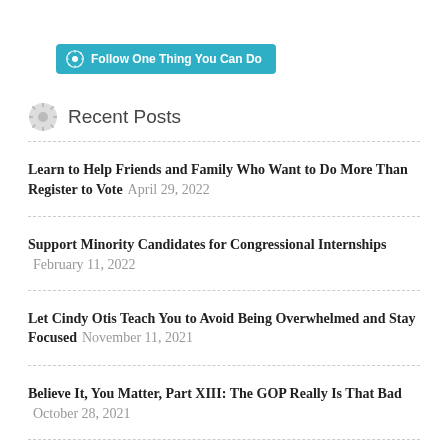[Figure (logo): WordPress Follow button with cyan/teal background reading 'Follow One Thing You Can Do']
Recent Posts
Learn to Help Friends and Family Who Want to Do More Than Register to Vote April 29, 2022
Support Minority Candidates for Congressional Internships February 11, 2022
Let Cindy Otis Teach You to Avoid Being Overwhelmed and Stay Focused November 11, 2021
Believe It, You Matter, Part XIII: The GOP Really Is That Bad October 28, 2021
Sign Up for a Health Insurance Plan at Healthcare.gov During a Special Enrollment Period That Closes TOMORROW May 14,